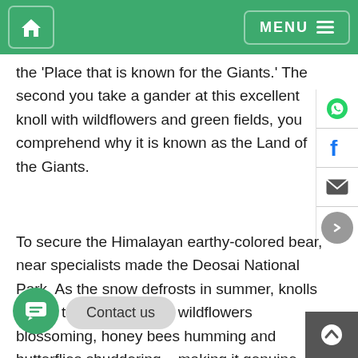Home | MENU
the ‘Place that is known for the Giants.’ The second you take a gander at this excellent knoll with wildflowers and green fields, you comprehend why it is known as the Land of the Giants.
To secure the Himalayan earthy-colored bear, near specialists made the Deosai National Park. As the snow defrosts in summer, knolls spring to existence with wildflowers blossoming, honey bees humming and butterflies shuddering – making it genuine heaven on Earth. As is apparent by its name, it’s additionally a natural life asylum. The journey across Bu… as… ong and tiring course and quite possibly the most troublesome climbing trip in